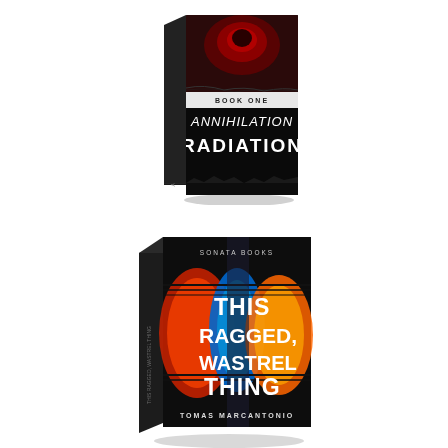[Figure (illustration): Book cover of 'Annihilation Radiation' Book One, shown in 3D perspective. Dark/black cover with red and dark imagery at top, bold distressed text reading 'BOOK ONE ANNIHILATION RADIATION' on lower portion.]
[Figure (illustration): Book cover of 'This Ragged, Wastrel Thing' by Tomas Marcantonio, shown in 3D perspective. Black cover with colorful abstract lantern shapes in red, orange, blue and yellow. White bold text reads 'THIS RAGGED, WASTREL THING'. Publisher name 'Sonata Books' at top. Author name 'TOMAS MARCANTONIO' at bottom.]